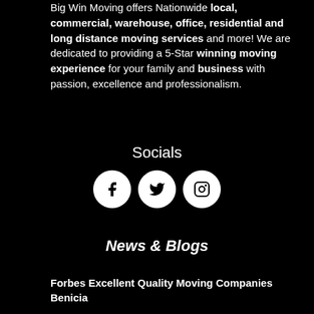Big Win Moving offers Nationwide local, commercial, warehouse, office, residential and long distance moving services and more! We are dedicated to providing a 5-Star winning moving experience for your family and business with passion, excellence and professionalism.
Socials
[Figure (infographic): Three circular white social media icons on black background: Facebook (f), Twitter (bird), Instagram (camera)]
News & Blogs
Forbes Excellent Quality Moving Companies Benicia